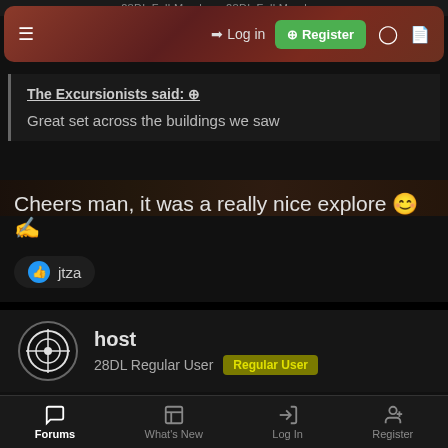28DL Full Member 28DL Full Members
[Figure (screenshot): Navigation bar with hamburger menu, Log in button, Register button (green), dark mode toggle, and document icon]
The Excursionists said: ⊕
Great set across the buildings we saw
Cheers man, it was a really nice explore 😊👆
jtza
host
28DL Regular User Regular User
Jul 17, 2020 #6
Returning, I think places like this have a great charm when not well
Forums | What's New | Log In | Register